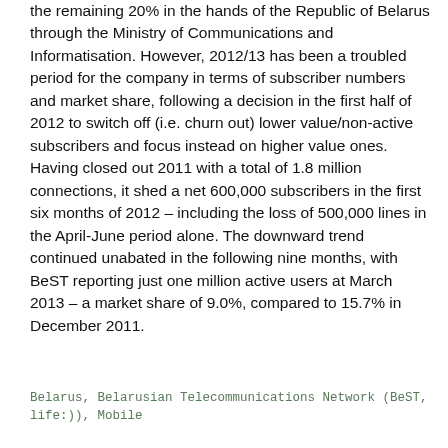the remaining 20% in the hands of the Republic of Belarus through the Ministry of Communications and Informatisation. However, 2012/13 has been a troubled period for the company in terms of subscriber numbers and market share, following a decision in the first half of 2012 to switch off (i.e. churn out) lower value/non-active subscribers and focus instead on higher value ones. Having closed out 2011 with a total of 1.8 million connections, it shed a net 600,000 subscribers in the first six months of 2012 – including the loss of 500,000 lines in the April-June period alone. The downward trend continued unabated in the following nine months, with BeST reporting just one million active users at March 2013 – a market share of 9.0%, compared to 15.7% in December 2011.
Belarus, Belarusian Telecommunications Network (BeST, life:)), Mobile